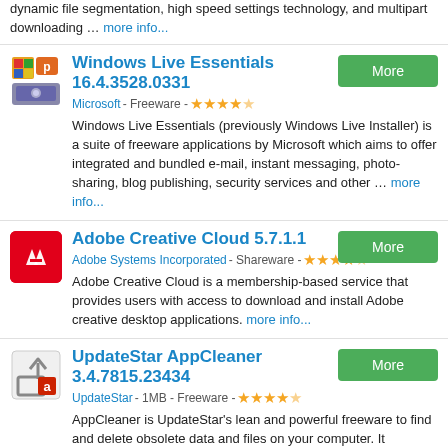dynamic file segmentation, high speed settings technology, and multipart downloading … more info...
Windows Live Essentials 16.4.3528.0331
Microsoft - Freeware - ★★★★☆
Windows Live Essentials (previously Windows Live Installer) is a suite of freeware applications by Microsoft which aims to offer integrated and bundled e-mail, instant messaging, photo-sharing, blog publishing, security services and other … more info...
Adobe Creative Cloud 5.7.1.1
Adobe Systems Incorporated - Shareware - ★★★★☆
Adobe Creative Cloud is a membership-based service that provides users with access to download and install Adobe creative desktop applications. more info...
UpdateStar AppCleaner 3.4.7815.23434
UpdateStar - 1MB - Freeware - ★★★★☆
AppCleaner is UpdateStar's lean and powerful freeware to find and delete obsolete data and files on your computer. It